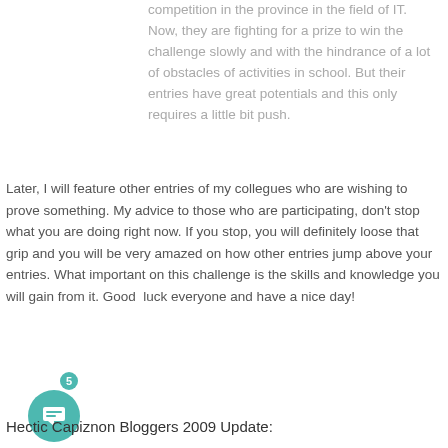competition in the province in the field of IT. Now, they are fighting for a prize to win the challenge slowly and with the hindrance of a lot of obstacles of activities in school. But their entries have great potentials and this only requires a little bit push.
Later, I will feature other entries of my collegues who are wishing to prove something. My advice to those who are participating, don't stop what you are doing right now. If you stop, you will definitely loose that grip and you will be very amazed on how other entries jump above your entries. What important on this challenge is the skills and knowledge you will gain from it. Good luck everyone and have a nice day!
[Figure (other): Teal chat/comment icon circle with a badge showing the number 5]
Hectic Capiznon Bloggers 2009 Update: